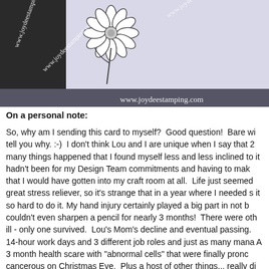[Figure (photo): Photograph showing a stamping/crafting card with a daisy flower illustration on a dark background. Watermark text reads 'www.joydeestamping.com' visible in multiple places on the image.]
On a personal note:
So, why am I sending this card to myself?  Good question!  Bare wi tell you why. :-)  I don't think Lou and I are unique when I say that 2 many things happened that I found myself less and less inclined to it hadn't been for my Design Team commitments and having to mak that I would have gotten into my craft room at all.  Life just seemed great stress reliever, so it's strange that in a year where I needed s it so hard to do it. My hand injury certainly played a big part in not b couldn't even sharpen a pencil for nearly 3 months!  There were oth ill - only one survived.  Lou's Mom's decline and eventual passing. 14-hour work days and 3 different job roles and just as many mana A 3 month health scare with "abnormal cells" that were finally pronc cancerous on Christmas Eve.  Plus a host of other things... really di